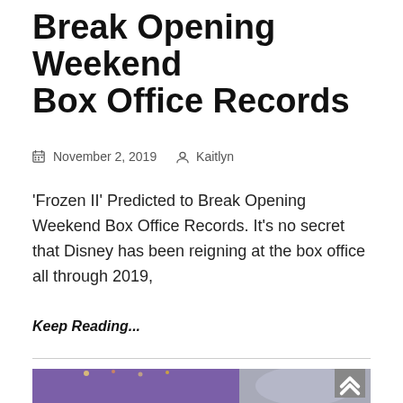Break Opening Weekend Box Office Records
November 2, 2019   Kaitlyn
'Frozen II' Predicted to Break Opening Weekend Box Office Records. It’s no secret that Disney has been reigning at the box office all through 2019,
Keep Reading...
[Figure (photo): Toy Story 4 promotional image showing Buzz Lightyear, Woody, and other characters at a carnival setting, with a large grey disc on the right side featuring a motorcyclist figure]